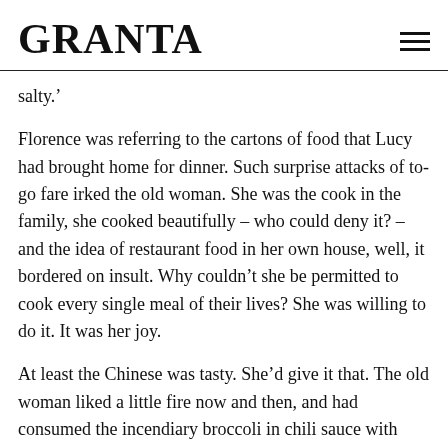GRANTA
salty.'
Florence was referring to the cartons of food that Lucy had brought home for dinner. Such surprise attacks of to-go fare irked the old woman. She was the cook in the family, she cooked beautifully – who could deny it? – and the idea of restaurant food in her own house, well, it bordered on insult. Why couldn’t she be permitted to cook every single meal of their lives? She was willing to do it. It was her joy.
At least the Chinese was tasty. She’d give it that. The old woman liked a little fire now and then, and had consumed the incendiary broccoli in chili sauce with formidable gusto. When she sat up, a prolonged burp rolled out of her. ‘Oh, it’s repeating on me.’